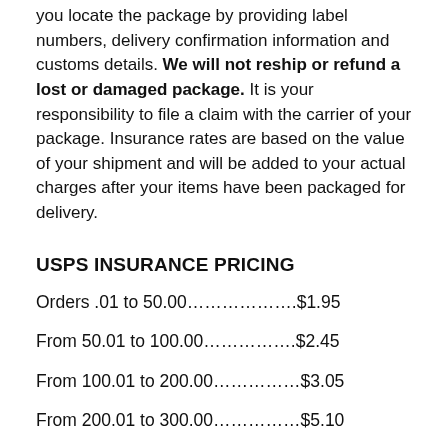you locate the package by providing label numbers, delivery confirmation information and customs details. We will not reship or refund a lost or damaged package. It is your responsibility to file a claim with the carrier of your package. Insurance rates are based on the value of your shipment and will be added to your actual charges after your items have been packaged for delivery.
USPS INSURANCE PRICING
Orders .01 to 50.00……………….$1.95
From 50.01 to 100.00…………….$2.45
From 100.01 to 200.00……………$3.05
From 200.01 to 300.00……………$5.10